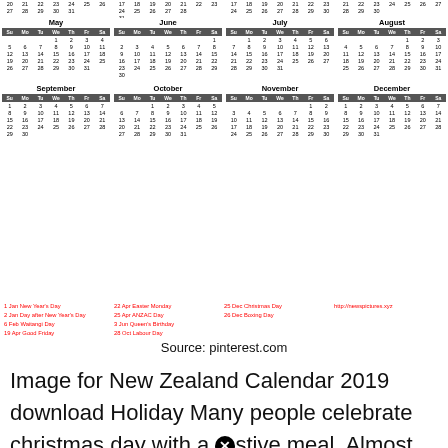[Figure (other): New Zealand 2019 calendar grid showing months May through December with public holidays marked in red]
1 Jan New Year's Day
2 Jan Day after New Year's Day
6 Feb Waitangi Day
19 Apr Good Friday
22 Apr Easter Monday
25 Apr ANZAC Day
3 Jun Queen's Birthday
28 Oct Labour Day
25 Dec Christmas Day
26 Dec Boxing Day
http://newspictures.xyz
Source: pinterest.com
Image for New Zealand Calendar 2019 download Holiday Many people celebrate christmas day with a Ⓧ stive meal. Almost